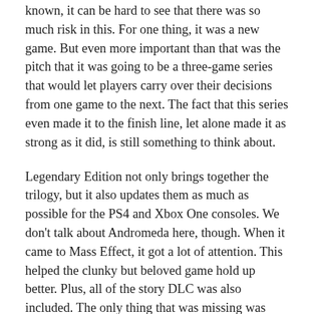known, it can be hard to see that there was so much risk in this. For one thing, it was a new game. But even more important than that was the pitch that it was going to be a three-game series that would let players carry over their decisions from one game to the next. The fact that this series even made it to the finish line, let alone made it as strong as it did, is still something to think about.
Legendary Edition not only brings together the trilogy, but it also updates them as much as possible for the PS4 and Xbox One consoles. We don't talk about Andromeda here, though. When it came to Mass Effect, it got a lot of attention. This helped the clunky but beloved game hold up better. Plus, all of the story DLC was also included. The only thing that was missing was Mass Effect 3's multiplayer mode. This sci-fi epic has some of the best writing, world-building, and role-playing in the history of the genre. This new edition makes it even